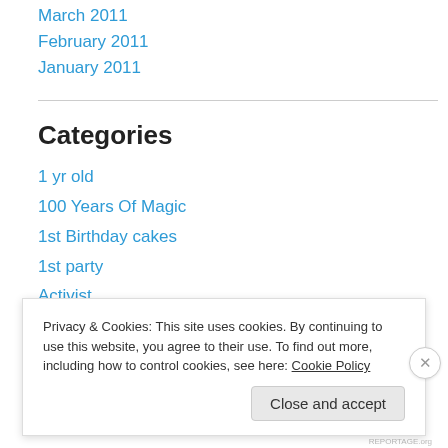March 2011
February 2011
January 2011
Categories
1 yr old
100 Years Of Magic
1st Birthday cakes
1st party
Activist
affordable
Baby Cakes
Privacy & Cookies: This site uses cookies. By continuing to use this website, you agree to their use. To find out more, including how to control cookies, see here: Cookie Policy
Close and accept